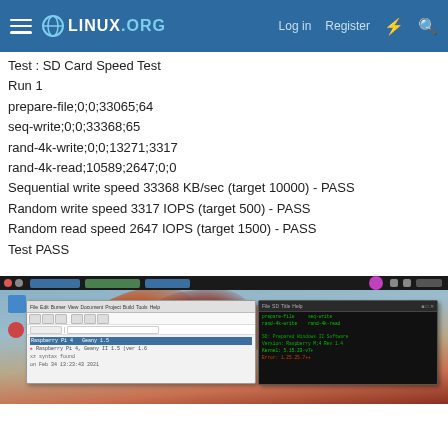≡  LINUX.ORG   Log in   Register   ⚡   🔍
Test : SD Card Speed Test
Run 1
prepare-file;0;0;33065;64
seq-write;0;0;33368;65
rand-4k-write;0;0;13271;3317
rand-4k-read;10589;2647;0;0
Sequential write speed 33368 KB/sec (target 10000) - PASS
Random write speed 3317 IOPS (target 500) - PASS
Random read speed 2647 IOPS (target 1500) - PASS
Test PASS
[Figure (screenshot): Screenshot of a Linux desktop showing a file manager window and a terminal window with green text output on black background, against a desktop background with orange/red cloud-like imagery.]